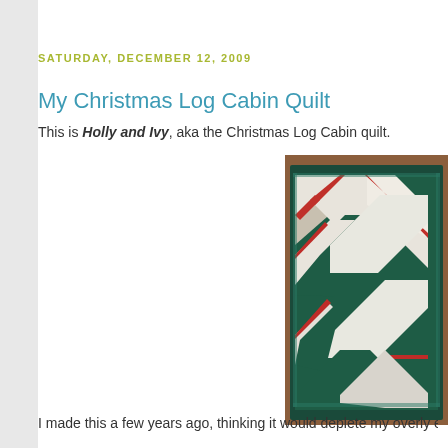SATURDAY, DECEMBER 12, 2009
My Christmas Log Cabin Quilt
This is Holly and Ivy, aka the Christmas Log Cabin quilt.
[Figure (photo): Photo of a Christmas Log Cabin quilt with red, green, and white log cabin pattern displayed on a wooden floor, viewed from above at an angle.]
I made this a few years ago, thinking it would deplete my overly ex